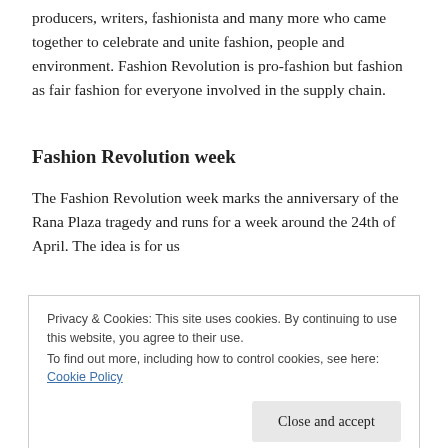producers, writers, fashionista and many more who came together to celebrate and unite fashion, people and environment. Fashion Revolution is pro-fashion but fashion as fair fashion for everyone involved in the supply chain.
Fashion Revolution week
The Fashion Revolution week marks the anniversary of the Rana Plaza tragedy and runs for a week around the 24th of April. The idea is for us
Privacy & Cookies: This site uses cookies. By continuing to use this website, you agree to their use.
To find out more, including how to control cookies, see here: Cookie Policy